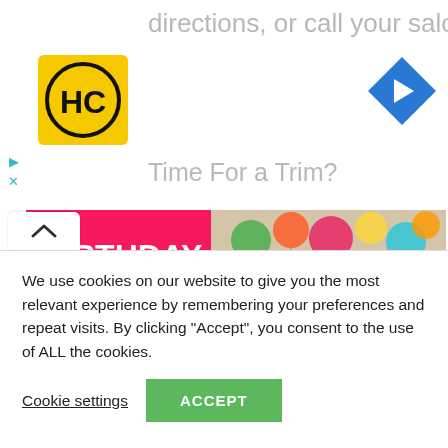directions, or call your salon!
[Figure (logo): HC logo — yellow square with black HC letters and circular border]
[Figure (logo): Blue diamond navigation/directions icon with white arrow]
Time For a Trim?
[Figure (photo): Birthday party scene: children with balloons and party hats, with pink overlay on left reading BIRTHDAY WISHES FOR CHILDHOOD FRIEND in white bold text]
We use cookies on our website to give you the most relevant experience by remembering your preferences and repeat visits. By clicking “Accept”, you consent to the use of ALL the cookies.
Cookie settings
ACCEPT